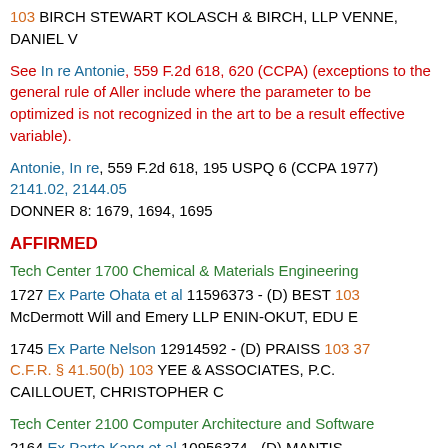103 BIRCH STEWART KOLASCH & BIRCH, LLP VENNE, DANIEL V
See In re Antonie, 559 F.2d 618, 620 (CCPA) (exceptions to the general rule of Aller include where the parameter to be optimized is not recognized in the art to be a result effective variable).
Antonie, In re, 559 F.2d 618, 195 USPQ 6 (CCPA 1977) 2141.02, 2144.05 DONNER 8: 1679, 1694, 1695
AFFIRMED
Tech Center 1700 Chemical & Materials Engineering
1727 Ex Parte Ohata et al 11596373 - (D) BEST 103 McDermott Will and Emery LLP ENIN-OKUT, EDU E
1745 Ex Parte Nelson 12914592 - (D) PRAISS 103 37 C.F.R. § 41.50(b) 103 YEE & ASSOCIATES, P.C. CAILLOUET, CHRISTOPHER C
Tech Center 2100 Computer Architecture and Software
2164 Ex Parte Kang et al 10956374 - (D) MANTIS MERCADER 103 NOID LAW SHARER, FAZLIJI